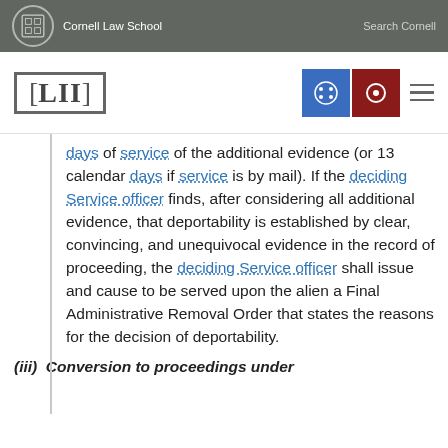Cornell Law School | Search Cornell
[Figure (logo): LII Legal Information Institute logo with navigation icons]
days of service of the additional evidence (or 13 calendar days if service is by mail). If the deciding Service officer finds, after considering all additional evidence, that deportability is established by clear, convincing, and unequivocal evidence in the record of proceeding, the deciding Service officer shall issue and cause to be served upon the alien a Final Administrative Removal Order that states the reasons for the decision of deportability.
(iii)  Conversion to proceedings under